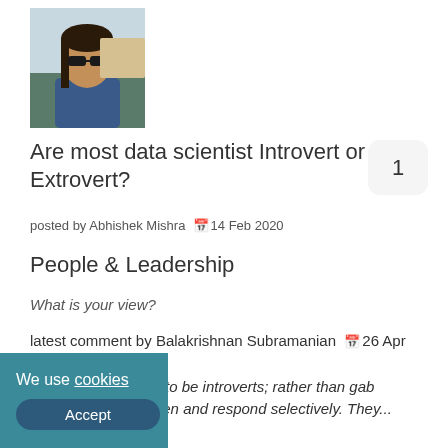[Figure (photo): Profile photo of a man with sunglasses outdoors]
Are most data scientist Introvert or Extrovert?
1
posted by Abhishek Mishra 📅 14 Feb 2020
People & Leadership
What is your view?
latest comment by Balakrishnan Subramanian 📅 26 Apr 2020
Data scientists tend to be introverts; rather than gab incessantly, they listen and respond selectively. They...
We use cookies Accept